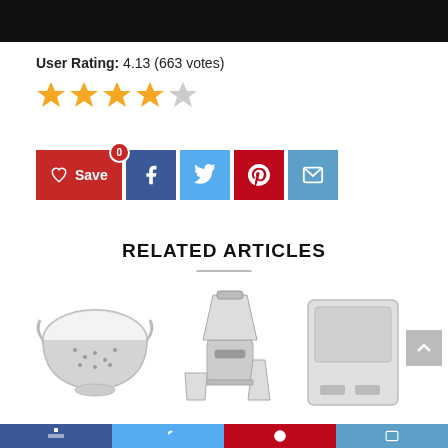[Figure (photo): Dark/black banner image at top of page]
User Rating: 4.13 (663 votes)
[Figure (infographic): 4 filled gold star icons and 1 half/empty star representing rating of 4.13]
[Figure (infographic): Social sharing buttons: red Save button with heart icon and 0 badge, Facebook (blue), Twitter (light blue), Pinterest (red), Email (blue)]
RELATED ARTICLES
[Figure (photo): Stainless steel colander/strainer bowl]
[Figure (photo): White blender with attachments]
[Figure (photo): Digital kitchen scale, silver/white]